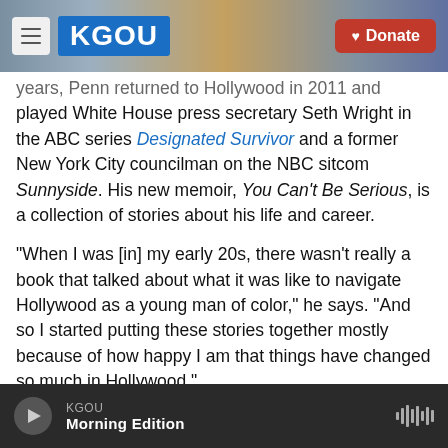[Figure (screenshot): KGOU radio website header with hamburger menu button, KGOU blue logo, city background photo, and red Donate button]
years, Penn returned to Hollywood in 2011 and played White House press secretary Seth Wright in the ABC series Designated Survivor and a former New York City councilman on the NBC sitcom Sunnyside. His new memoir, You Can't Be Serious, is a collection of stories about his life and career.
"When I was [in] my early 20s, there wasn't really a book that talked about what it was like to navigate Hollywood as a young man of color," he says. "And so I started putting these stories together mostly because of how happy I am that things have changed so much in Hollywood."
KGOU Morning Edition